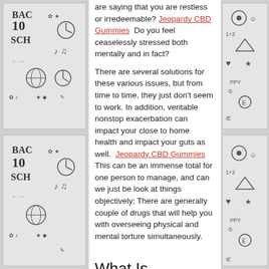[Figure (illustration): Black and white doodle/cartoon border on the left side with school and fun themed drawings including 'BACK', '10', 'SCH', musical notes, globe, clock, and other doodles repeated twice]
are saying that you are restless or irredeemable? Jeopardy CBD Gummies Do you feel ceaselessly stressed both mentally and in fact?
There are several solutions for these various issues, but from time to time, they just don't seem to work. In addition, veritable nonstop exacerbation can impact your close to home health and impact your guts as well. Jeopardy CBD Gummies This can be an immense total for one person to manage, and can we just be look at things objectively; There are generally couple of drugs that will help you with overseeing physical and mental torture simultaneously.
What Is Jeopardy CBD Gummies?
[Figure (illustration): Black and white doodle/cartoon border on the right side with school and fun themed drawings including smiley faces, hearts, stars, '1+2', triangles, and other doodles]